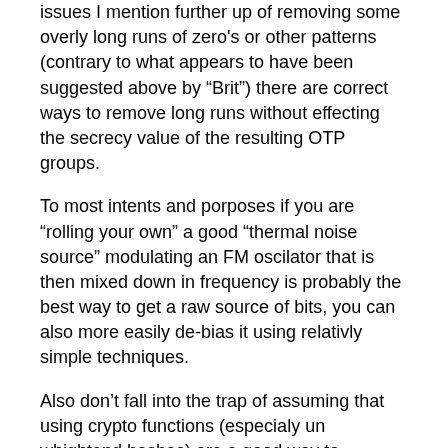issues I mention further up of removing some overly long runs of zero's or other patterns (contrary to what appears to have been suggested above by “Brit”) there are correct ways to remove long runs without effecting the secrecy value of the resulting OTP groups.
To most intents and porposes if you are “rolling your own” a good “thermal noise source” modulating an FM oscilator that is then mixed down in frequency is probably the best way to get a raw source of bits, you can also more easily de-bias it using relativly simple techniques.
Also don’t fall into the trap of assuming that using crypto functions (especialy un whightend hashes) are a good way to “improve entropy” from a source for many reasons it's “Magix Pixie Dust” thinking.
Personal OTP • November 17, 2011 1:50 PM
Those points are important, but are a sideline.
1) Why? Because OTP has certain properties useful in edge cases; particularly that in a perfect world, without known plaintext, it's very difficult to tell a successful decryption from